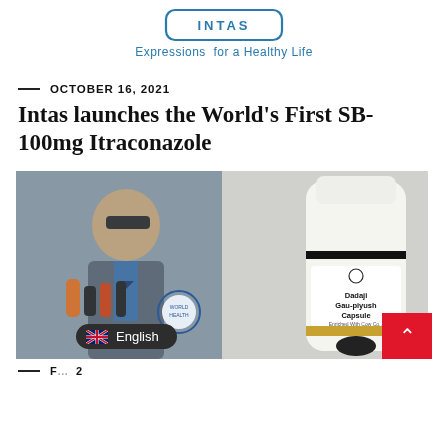[Figure (logo): Intas Pharmaceuticals logo with blue rounded rectangle border and tagline 'Expressions for a Healthy Life' in teal/blue text]
Expressions  for a Healthy Life
— OCTOBER 16, 2021
Intas launches the World's First SB-100mg Itraconazole
[Figure (photo): Left half: man in suit and sunglasses speaking at press conference with microphones. Right half: white medicine bottle labeled 'Dadaji Gau-piyush Capsule'. Bottom-left: circular badge/seal. Bottom-right: red scroll-to-top button. Bottom-center: English language selector pill.]
— F... 2